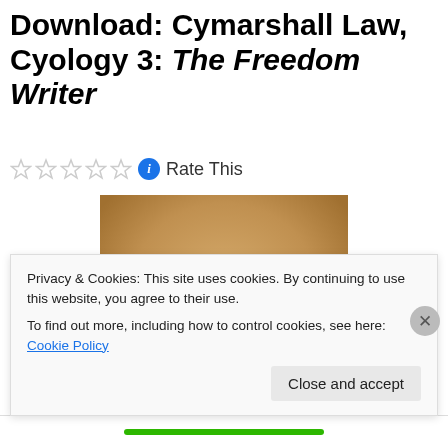Download: Cymarshall Law, Cyology 3: The Freedom Writer
Rate This
[Figure (photo): Portrait photo of a young man wearing a dark patterned hoodie, looking at the camera against a warm beige/orange background]
Privacy & Cookies: This site uses cookies. By continuing to use this website, you agree to their use.
To find out more, including how to control cookies, see here: Cookie Policy
Close and accept